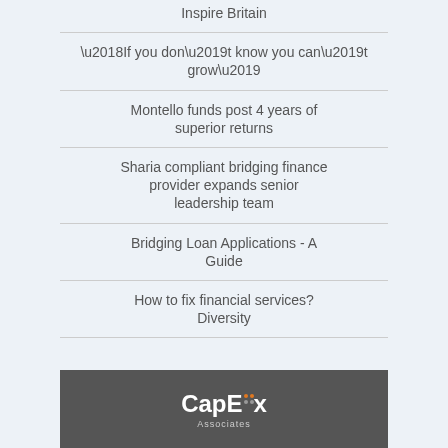Inspire Britain
‘If you don’t know you can’t grow’
Montello funds post 4 years of superior returns
Sharia compliant bridging finance provider expands senior leadership team
Bridging Loan Applications - A Guide
How to fix financial services? Diversity
[Figure (logo): CapEx Associates logo on dark gray background]